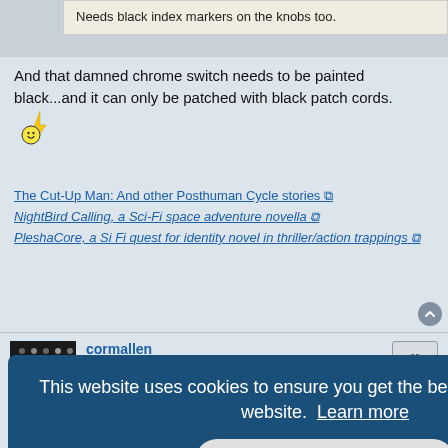Needs black index markers on the knobs too.
And that damned chrome switch needs to be painted black...and it can only be patched with black patch cords.
The Cut-Up Man: And other Posthuman Cycle stories [external link]
NightBird Calling, a Sci-Fi space adventure novella [external link]
PleshaCore, a Si Fi quest for identity novel in thriller/action trappings [external link]
cormallen
Common Wiggler
Mon May 27, 2013 12:12 pm
This website uses cookies to ensure you get the best experience on our website. Learn more
Got it!
model of o a box ugh it does have a rather steep initial learning curve).